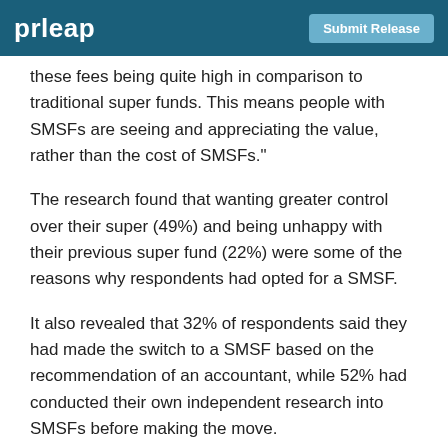prleap | Submit Release
these fees being quite high in comparison to traditional super funds. This means people with SMSFs are seeing and appreciating the value, rather than the cost of SMSFs."
The research found that wanting greater control over their super (49%) and being unhappy with their previous super fund (22%) were some of the reasons why respondents had opted for a SMSF.
It also revealed that 32% of respondents said they had made the switch to a SMSF based on the recommendation of an accountant, while 52% had conducted their own independent research into SMSFs before making the move.